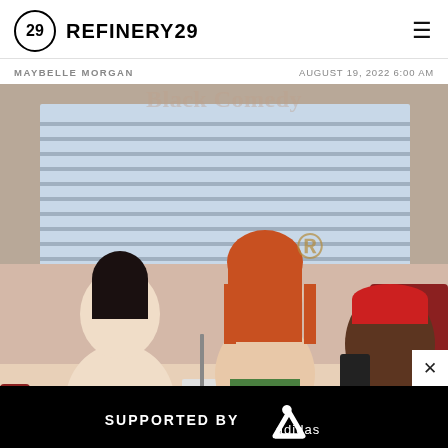REFINERY29
MAYBELLE MORGAN — AUGUST 19, 2022 6:00 AM
[Figure (photo): Three people sitting in a diner booth — a woman in white drinking from a cup on the left, a woman with auburn hair and green top in the center, and a person in a red cap on the right. There is a branded ad overlay at the bottom reading 'SUPPORTED BY adidas'.]
SUPPORTED BY adidas